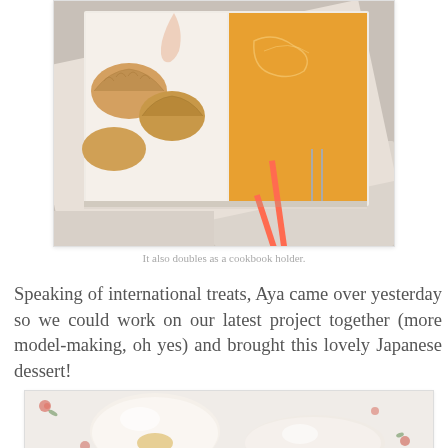[Figure (photo): Open cookbook/book on a surface, showing a page with dumplings/gyoza. The book has a coral/orange ribbon bookmark and pages visible from the side. There is a drawer pull visible in the lower right, suggesting the book sits on a piece of furniture.]
It also doubles as a cookbook holder.
Speaking of international treats, Aya came over yesterday so we could work on our latest project together (more model-making, oh yes) and brought this lovely Japanese dessert!
[Figure (photo): Close-up photo of white/cream-colored Japanese dessert mochi or similar soft round sweets on a floral patterned cloth or plate.]